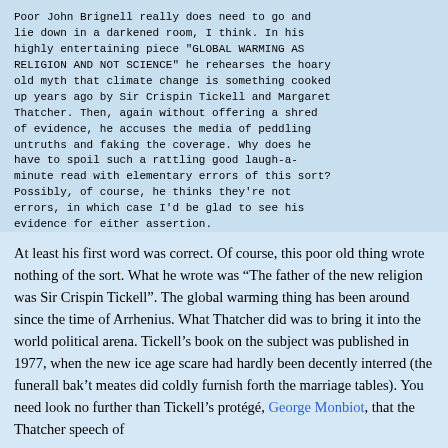Poor John Brignell really does need to go and lie down in a darkened room, I think. In his highly entertaining piece "GLOBAL WARMING AS RELIGION AND NOT SCIENCE" he rehearses the hoary old myth that climate change is something cooked up years ago by Sir Crispin Tickell and Margaret Thatcher. Then, again without offering a shred of evidence, he accuses the media of peddling untruths and faking the coverage. Why does he have to spoil such a rattling good laugh-a-minute read with elementary errors of this sort? Possibly, of course, he thinks they're not errors, in which case I'd be glad to see his evidence for either assertion.
Yours ever
Alex
At least his first word was correct. Of course, this poor old thing wrote nothing of the sort. What he wrote was “The father of the new religion was Sir Crispin Tickell”. The global warming thing has been around since the time of Arrhenius. What Thatcher did was to bring it into the world political arena. Tickell’s book on the subject was published in 1977, when the new ice age scare had hardly been decently interred (the funerall bak’t meates did coldly furnish forth the marriage tables). You need look no further than Tickell’s protégé, George Monbiot, that the Thatcher speech of